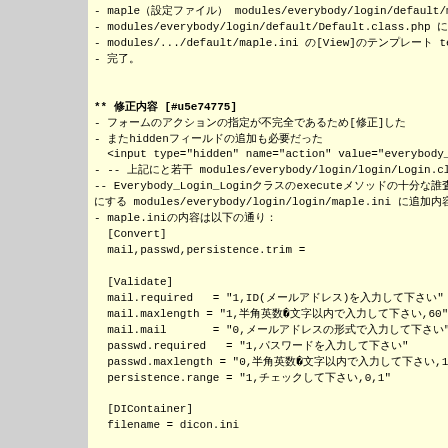Code block showing maple.ini configuration and login module setup with Japanese text annotations